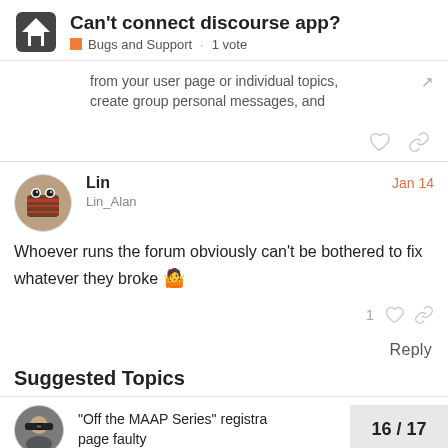Can't connect discourse app? Bugs and Support 1 vote
from your user page or individual topics, create group personal messages, and
Lin Lin_Alan Jan 14
Whoever runs the forum obviously can't be bothered to fix whatever they broke 🤷
Suggested Topics
"Off the MAAP Series" registra page faulty  16 / 17